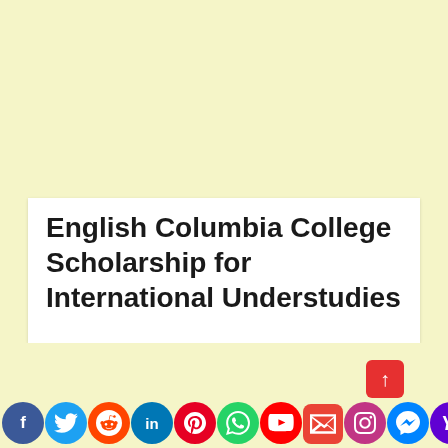English Columbia College Scholarship for International Understudies
[Figure (infographic): Social media sharing icons bar at the bottom: Facebook, Twitter, Reddit, LinkedIn, Pinterest, WhatsApp, YouTube, Gmail, Instagram, Messenger, Yahoo. A red share/upload button above the icons on the right.]